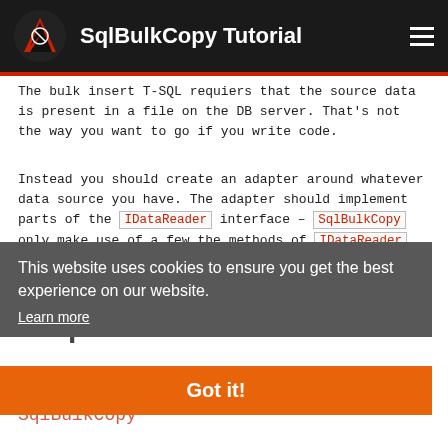SqlBulkCopy Tutorial
The bulk insert T-SQL requiers that the source data is present in a file on the DB server. That's not the way you want to go if you write code.
Instead you should create an adapter around whatever data source you have. The adapter should implement parts of the IDataReader interface – SqlBulkCopy only make use of a few the methods of IDataReader, so only those need to be implemented.
Properties
This website uses cookies to ensure you get the best experience on our website.
Learn more
Got it!